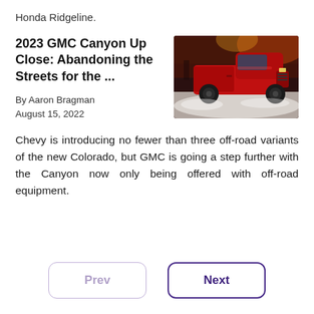Honda Ridgeline.
2023 GMC Canyon Up Close: Abandoning the Streets for the ...
[Figure (photo): A red GMC Canyon truck inside a dramatic industrial/warehouse setting with atmospheric lighting and fog/smoke on the ground]
By Aaron Bragman
August 15, 2022
Chevy is introducing no fewer than three off-road variants of the new Colorado, but GMC is going a step further with the Canyon now only being offered with off-road equipment.